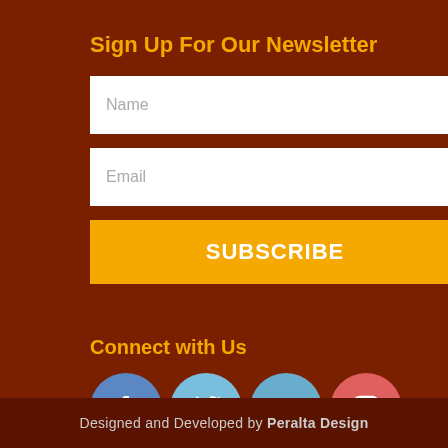Sign Up For Our Newsletter
[Figure (infographic): Newsletter sign-up form with Name input field, Email input field, and SUBSCRIBE button]
Connect with Us
[Figure (infographic): Social media icons: Facebook, Twitter, LinkedIn, Instagram]
Designed and Developed by Peralta Design